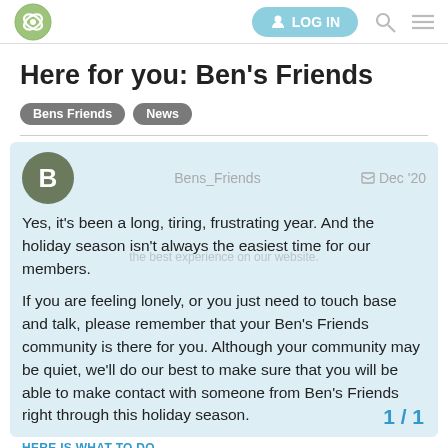LOG IN [search] [menu]
Here for you: Ben's Friends
Bens Friends   News
Bens_Friends   Dec '20
Yes, it's been a long, tiring, frustrating year. And the holiday season isn't always the easiest time for our members.

If you are feeling lonely, or you just need to touch base and talk, please remember that your Ben's Friends community is there for you. Although your community may be quiet, we'll do our best to make sure that you will be able to make contact with someone from Ben's Friends right through this holiday season.
1 / 1